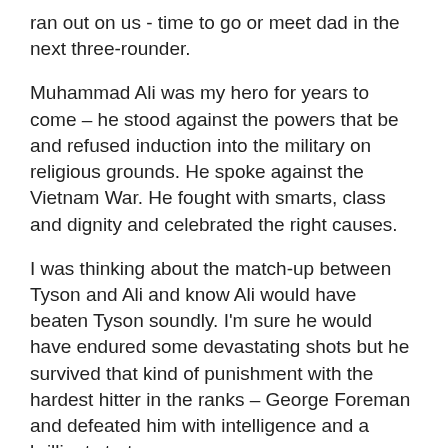ran out on us - time to go or meet dad in the next three-rounder.
Muhammad Ali was my hero for years to come – he stood against the powers that be and refused induction into the military on religious grounds. He spoke against the Vietnam War. He fought with smarts, class and dignity and celebrated the right causes.
I was thinking about the match-up between Tyson and Ali and know Ali would have beaten Tyson soundly. I'm sure he would have endured some devastating shots but he survived that kind of punishment with the hardest hitter in the ranks – George Foreman and defeated him with intelligence and a brilliant strategy.
I've watched those fight films numerous times - Joe Fraizer, Ken Norton, George Foreman - it's as if I can see the man dodging and slipping punches most would freely collect. Fraizer hurt him and hurt him badly, but somehow Ali recovered and overcame. That big smile – kids all around and a world followed close behind – the planet loved him.